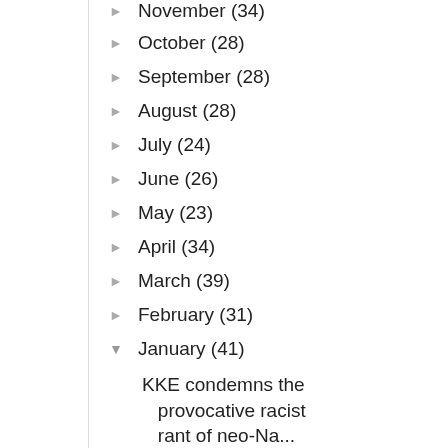► November (34)
► October (28)
► September (28)
► August (28)
► July (24)
► June (26)
► May (23)
► April (34)
► March (39)
► February (31)
▼ January (41)
KKE condemns the provocative racist rant of neo-Na...
Israeli Left and Peace groups denounce Trump-Netan...
Thousands of